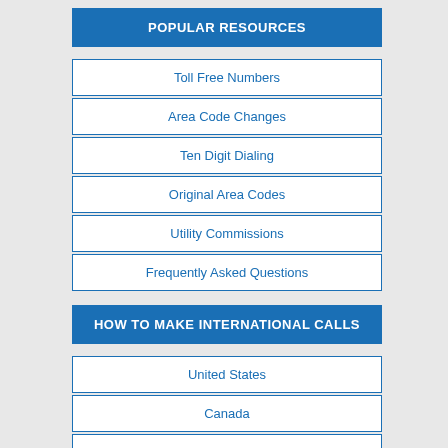POPULAR RESOURCES
Toll Free Numbers
Area Code Changes
Ten Digit Dialing
Original Area Codes
Utility Commissions
Frequently Asked Questions
HOW TO MAKE INTERNATIONAL CALLS
United States
Canada
Mexico
Australia
India